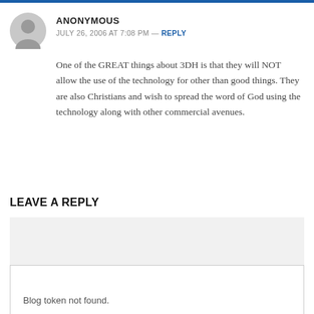ANONYMOUS
JULY 26, 2006 AT 7:08 PM — REPLY
One of the GREAT things about 3DH is that they will NOT allow the use of the technology for other than good things. They are also Christians and wish to spread the word of God using the technology along with other commercial avenues.
LEAVE A REPLY
Blog token not found.